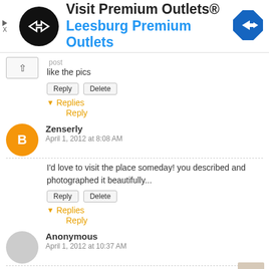[Figure (screenshot): Advertisement banner for Visit Premium Outlets® - Leesburg Premium Outlets, with black circular logo with arrows, blue text, and a blue diamond direction sign icon]
like the pics
Reply  Delete
▾ Replies  Reply
Zenserly
April 1, 2012 at 8:08 AM
I'd love to visit the place someday! you described and photographed it beautifully...
Reply  Delete
▾ Replies  Reply
Anonymous
April 1, 2012 at 10:37 AM
Interesting that they still use rickshaws there. And those signs! I would never be able to read them...